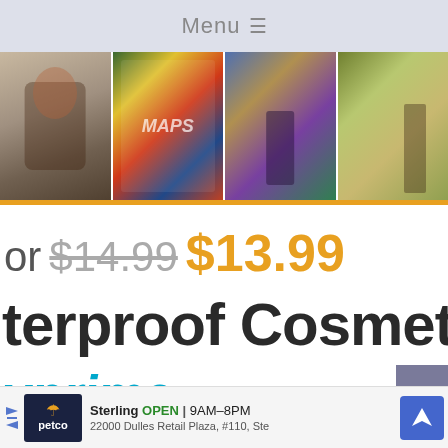Menu ≡
[Figure (photo): Horizontal photo strip showing four images: a woman holding a cat with a box, a colorful MAPS book cover, a person in front of a street mural, and an outdoor scene with a person walking.]
or $14.99 $13.99
terproof Cosmeti
yprime
Sterling OPEN | 9AM–8PM 22000 Dulles Retail Plaza, #110, Ste